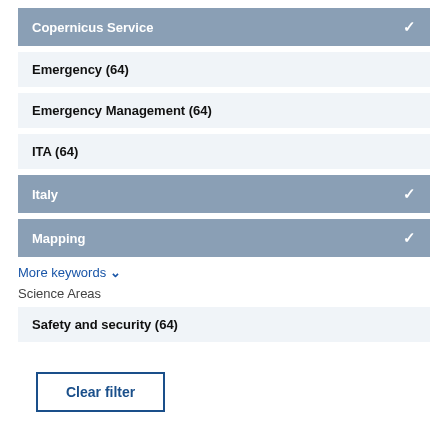Copernicus Service ✓
Emergency (64)
Emergency Management (64)
ITA (64)
Italy ✓
Mapping ✓
More keywords ∨
Science Areas
Safety and security (64)
Clear filter